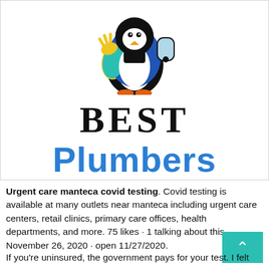[Figure (logo): Best Plumbers logo: cartoon penguin/bird character above bold text 'BEST' in serif font and 'Plumbers' in large blue bold font]
Urgent care manteca covid testing. Covid testing is available at many outlets near manteca including urgent care centers, retail clinics, primary care offices, health departments, and more. 75 likes · 1 talking about this. November 26, 2020 · open 11/27/2020.
If you're uninsured, the government pays for your test. I felt